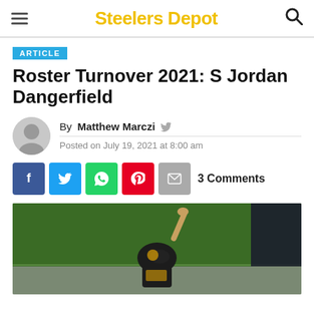Steelers Depot
ARTICLE
Roster Turnover 2021: S Jordan Dangerfield
By Matthew Marczi
Posted on July 19, 2021 at 8:00 am
3 Comments
[Figure (photo): Football player in Pittsburgh Steelers uniform on field, raising hand, partially visible, photo cropped]